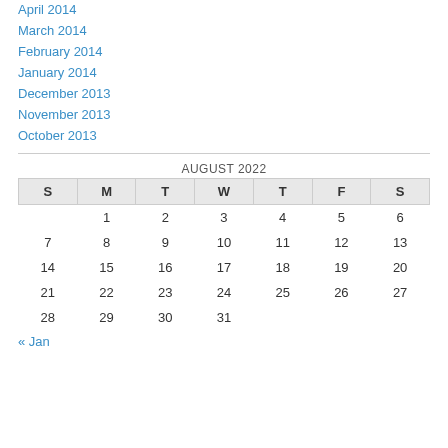April 2014
March 2014
February 2014
January 2014
December 2013
November 2013
October 2013
AUGUST 2022
| S | M | T | W | T | F | S |
| --- | --- | --- | --- | --- | --- | --- |
|  | 1 | 2 | 3 | 4 | 5 | 6 |
| 7 | 8 | 9 | 10 | 11 | 12 | 13 |
| 14 | 15 | 16 | 17 | 18 | 19 | 20 |
| 21 | 22 | 23 | 24 | 25 | 26 | 27 |
| 28 | 29 | 30 | 31 |  |  |  |
« Jan